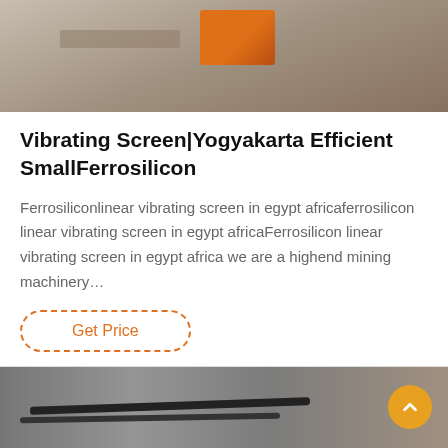[Figure (photo): Top image showing industrial/mining equipment scene with orange box visible]
Vibrating Screen|Yogyakarta Efficient SmallFerrosilicon
Ferrosiliconlinear vibrating screen in egypt africaferrosilicon linear vibrating screen in egypt africaFerrosilicon linear vibrating screen in egypt africa we are a highend mining machinery…
Get Price
[Figure (photo): Bottom image showing industrial site with equipment, with chat overlay bar showing Leave Message and Chat Online buttons, and customer service avatar]
Leave Message
Chat Online